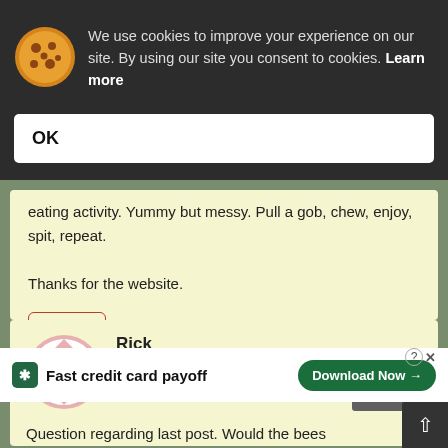We use cookies to improve your experience on our site. By using our site you consent to cookies. Learn more
OK
eating activity. Yummy but messy. Pull a gob, chew, enjoy, spit, repeat.
Thanks for the website.
Reply
Rick
January 9, 2013 at 5:57 am
Question regarding last post. Would the bees from extr ass...